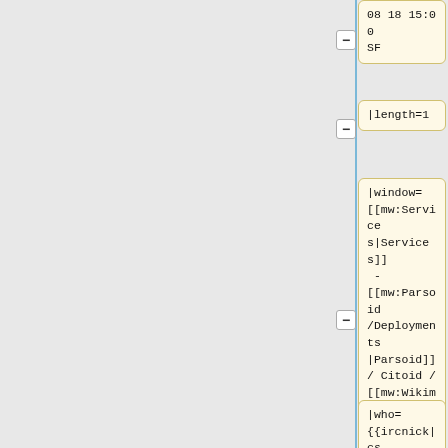— 08 18 15:00 SF
— |length=1
— |window= [[mw:Services|Services]] - [[mw:Parsoid/Deployments|Parsoid]] / Citoid / [[mw:Wikimedia_Apps/Team/RESTBase_services_for_apps|Mobileapps]] / [[ORES]] / …
|who= {{ircnick|cs